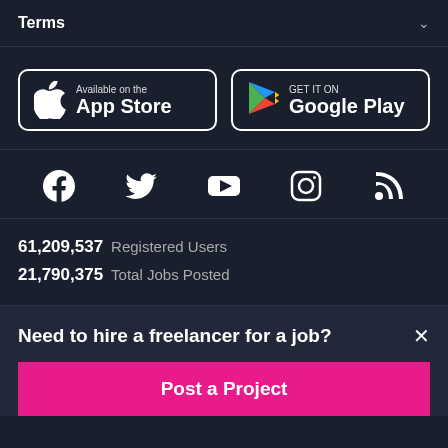Terms
[Figure (screenshot): App Store and Google Play store download buttons]
[Figure (infographic): Social media icons: Facebook, Twitter, YouTube, Instagram, RSS]
61,209,537 Registered Users
21,790,375 Total Jobs Posted
Need to hire a freelancer for a job?
Post a Project